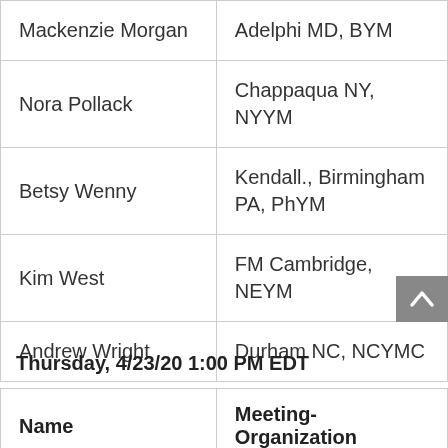| Name | Meeting-Organization |
| --- | --- |
| Mackenzie Morgan | Adelphi MD, BYM |
| Nora Pollack | Chappaqua NY, NYYM |
| Betsy Wenny | Kendall., Birmingham PA, PhYM |
| Kim West | FM Cambridge, NEYM |
| Andrew Wright | Durham NC, NCYMC |
Thursday, 4/23/20 1:00 PM EDT
| Name | Meeting-Organization |
| --- | --- |